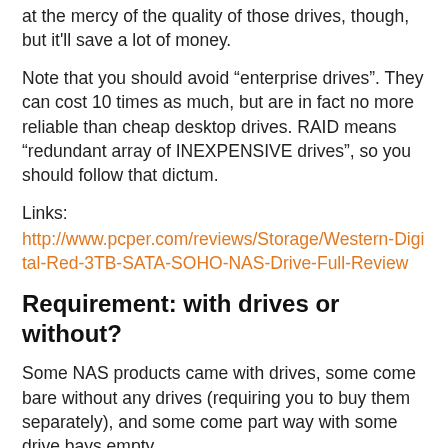at the mercy of the quality of those drives, though, but it'll save a lot of money.
Note that you should avoid “enterprise drives”. They can cost 10 times as much, but are in fact no more reliable than cheap desktop drives. RAID means “redundant array of INEXPENSIVE drives”, so you should follow that dictum.
Links:
http://www.pcper.com/reviews/Storage/Western-Digital-Red-3TB-SATA-SOHO-NAS-Drive-Full-Review
Requirement: with drives or without?
Some NAS products came with drives, some come bare without any drives (requiring you to buy them separately), and some come part way with some drive bays empty.
In general, most vendors mark up the drives. That’s because they have to go through a longer supply chain. Some vendors mark up the drives absurdly so, selling to the dumbest of customers that want the least amount of work